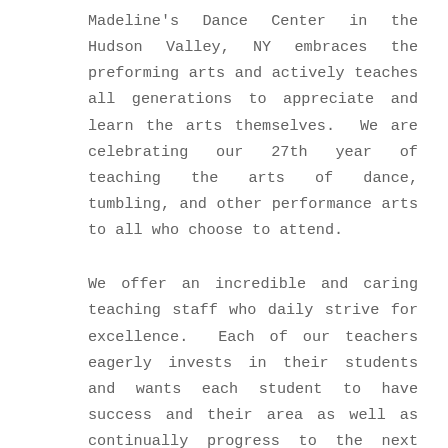Madeline's Dance Center in the Hudson Valley, NY embraces the preforming arts and actively teaches all generations to appreciate and learn the arts themselves. We are celebrating our 27th year of teaching the arts of dance, tumbling, and other performance arts to all who choose to attend.
We offer an incredible and caring teaching staff who daily strive for excellence. Each of our teachers eagerly invests in their students and wants each student to have success and their area as well as continually progress to the next level. This quest for quality has empowered Madeline's